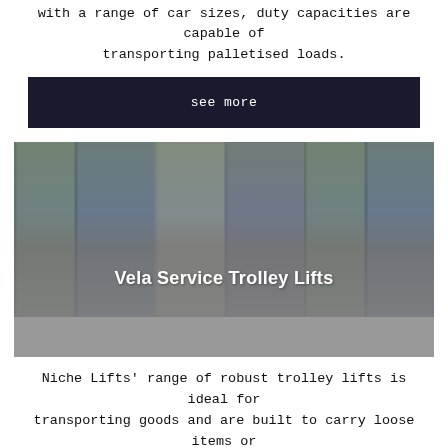with a range of car sizes, duty capacities are capable of transporting palletised loads.
see more
[Figure (photo): Industrial lift interior with trolley lift equipment visible]
Vela Service Trolley Lifts
Niche Lifts' range of robust trolley lifts is ideal for transporting goods and are built to carry loose items or goods loaded onto trolleys or in roll cages.
see more